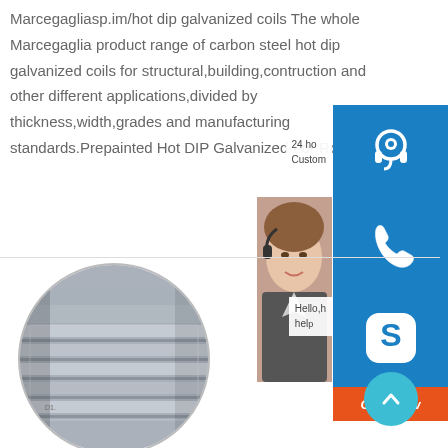Marcegagliasp.im/hot dip galvanized coils The whole Marcegaglia product range of carbon steel hot dip galvanized coils for structural,building,contruction and other different applications,divided by thickness,width,grades and manufacturing standards.Prepainted Hot DIP Galvanized For Roofing
[Figure (screenshot): Customer service sidebar with headset icon button, phone icon button, Skype icon button, and Chat Now orange button. A customer service representative photo is partially visible.]
[Figure (photo): Circular cropped photo of stacked galvanized steel coils/sheets in a warehouse setting.]
[Figure (other): Teal scroll-to-top circular button with upward chevron arrow.]